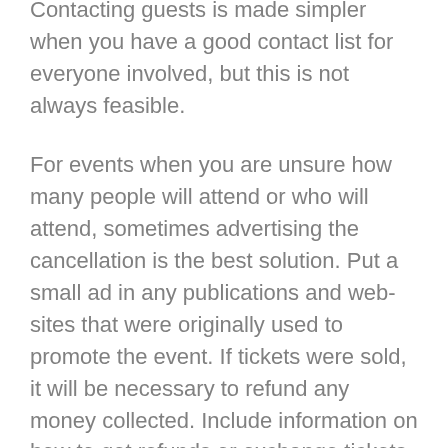who were coming to the event. Contacting guests is made simpler when you have a good contact list for everyone involved, but this is not always feasible.
For events when you are unsure how many people will attend or who will attend, sometimes advertising the cancellation is the best solution. Put a small ad in any publications and web-sites that were originally used to promote the event. If tickets were sold, it will be necessary to refund any money collected. Include information on how to get refunds or exchange tickets with the cancellation information. If possible, post signs at the venue where the event was to be held on the event day so any individuals who show up will be informed of the cancellation and, when applicable, refund instructions.